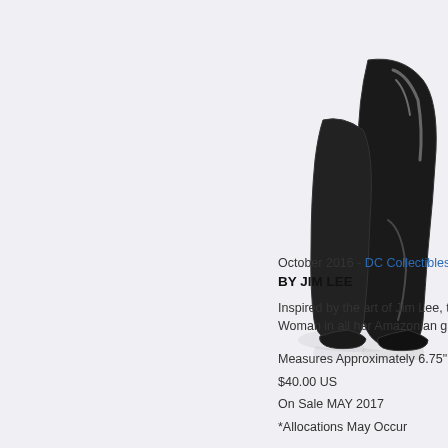[Figure (photo): Partial view of a DC Collectibles Wonder Woman figurine by Jim Lee, showing the lower boots and base against a light grey background]
October 2016 - DC Collectibles - DC
BY JIM LEE
Inspired by the art of Jim Lee, this new statue captures Wonder Woman in all her Amazonian glory!
Measures Approximately 6.75" Tall
$40.00 US
On Sale MAY 2017
*Allocations May Occur